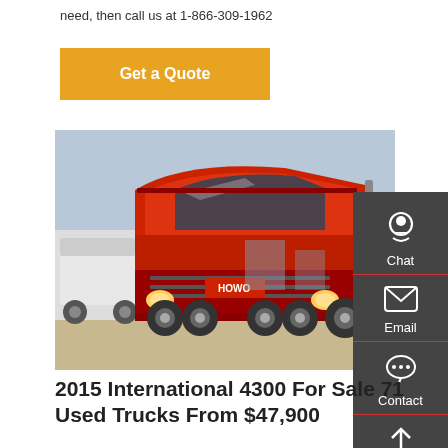need, then call us at 1-866-309-1962
Get a Quote
[Figure (photo): Red HOWO heavy-duty semi truck / tractor unit parked in a yard, viewed from the front-right angle. Other white trucks visible in the background.]
2015 International 4300 For Sale 71 Used Trucks From $47,900